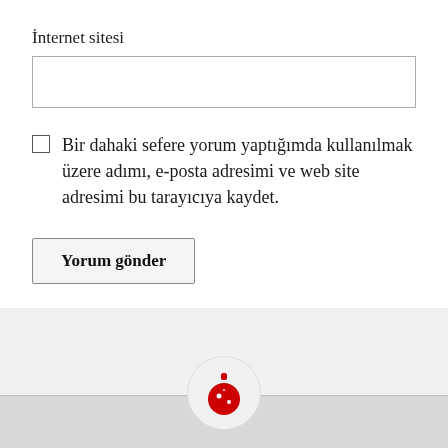İnternet sitesi
Bir dahaki sefere yorum yaptığımda kullanılmak üzere adımı, e-posta adresimi ve web site adresimi bu tarayıcıya kaydet.
Yorum gönder
[Figure (illustration): Red Christmas ornament ball icon with white star decorations on a circular light grey background, positioned at the bottom center of the page overlapping the grey footer strip.]